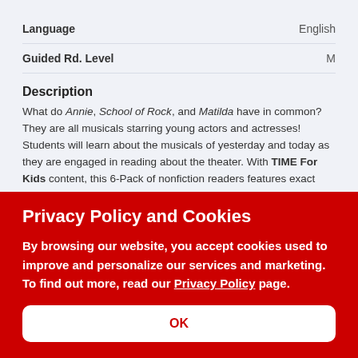| Language | English |
| Guided Rd. Level | M |
Description
What do Annie, School of Rock, and Matilda have in common? They are all musicals starring young actors and actresses! Students will learn about the musicals of yesterday and today as they are engaged in reading about the theater. With TIME For Kids content, this 6-Pack of nonfiction readers features exact text-to-image relationships to help beginning readers develop their foundational literacy skills. Text features include a glossary and bold font to increase understanding and build vocabulary. With vibrant images and
Privacy Policy and Cookies
By browsing our website, you accept cookies used to improve and personalize our services and marketing. To find out more, read our Privacy Policy page.
OK